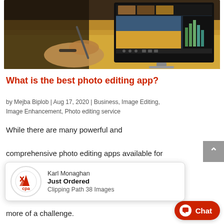[Figure (photo): Person using a stylus/pen at a desk with an iMac-style monitor displaying photo editing software with landscape images on screen]
What is the best photo editing app?
by Mejba Biplob | Aug 17, 2020 | Business, Image Editing, Image Enhancement, Photo editing service
While there are many powerful and comprehensive photo editing apps available for
[Figure (infographic): Notification popup showing: Karl Monaghan, Just Ordered, Clipping Path 38 Images, with CPA logo]
more of a challenge.